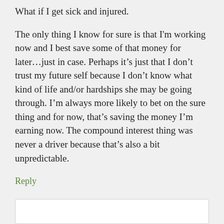What if I get sick and injured.
The only thing I know for sure is that I'm working now and I best save some of that money for later…just in case. Perhaps it's just that I don't trust my future self because I don't know what kind of life and/or hardships she may be going through. I'm always more likely to bet on the sure thing and for now, that's saving the money I'm earning now. The compound interest thing was never a driver because that's also a bit unpredictable.
Reply